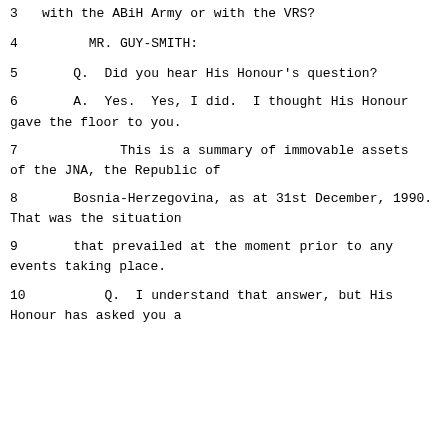3    with the ABiH Army or with the VRS?
4        MR. GUY-SMITH:
5      Q.   Did you hear His Honour's question?
6      A.   Yes.  Yes, I did.  I thought His Honour gave the floor to you.
7           This is a summary of immovable assets of the JNA, the Republic of
8      Bosnia-Herzegovina, as at 31st December, 1990. That was the situation
9      that prevailed at the moment prior to any events taking place.
10      Q.   I understand that answer, but His Honour has asked you a